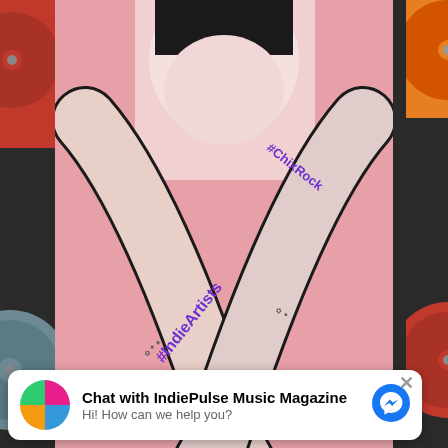[Figure (photo): Screenshot of a music website (IndiePulse Music Magazine) showing an indie artists promotional image with a tattooed person making an X with their arms on a pink background, with text #IndieArtistsRule, #ChixRock, and www.indieartistsrule.com. Side panels show vinyl records.]
News and Resource Partners
[Figure (logo): Hootsuite or similar social media tool orange logo with connected circles]
Chat with IndiePulse Music Magazine
Hi! How can we help you?